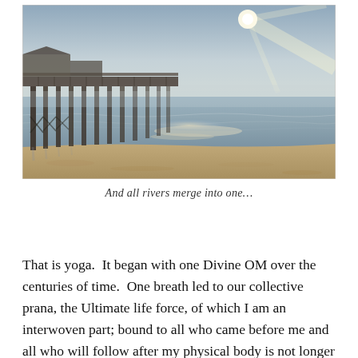[Figure (photo): A coastal beach scene with a wooden pier on the left, calm ocean water reflecting bright sunlight from a hazy sun in the upper right, and sandy beach in the foreground.]
And all rivers merge into one…
That is yoga.  It began with one Divine OM over the centuries of time.  One breath led to our collective prana, the Ultimate life force, of which I am an interwoven part; bound to all who came before me and all who will follow after my physical body is not longer